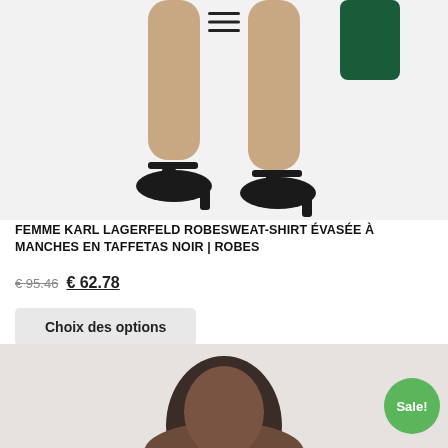[Figure (photo): Fashion product photo showing a model's legs wearing black block-heel T-strap shoes with a dark green sequin dress, on white background]
FEMME KARL LAGERFELD ROBESWEAT-SHIRT ÉVASÉE À MANCHES EN TAFFETAS NOIR | ROBES
€ 95.46  € 62.78
Choix des options
[Figure (photo): Fashion product photo showing a model's head and shoulders, woman with short natural hair, on light grey background, with green Sale! badge overlay]